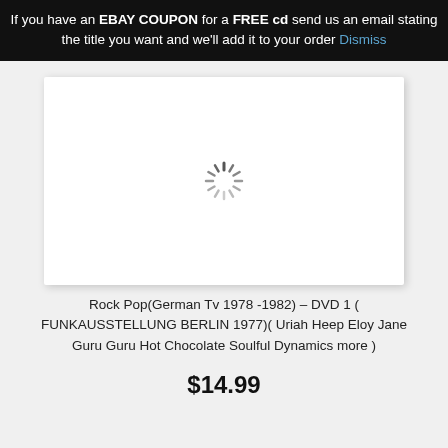If you have an EBAY COUPON for a FREE cd send us an email stating the title you want and we'll add it to your order Dismiss
[Figure (screenshot): Loading spinner (animated circle of dashes) shown in a white card area, indicating an image is loading]
Rock Pop(German Tv 1978 -1982) – DVD 1 ( FUNKAUSSTELLUNG BERLIN 1977)( Uriah Heep Eloy Jane Guru Guru Hot Chocolate Soulful Dynamics more )
$14.99